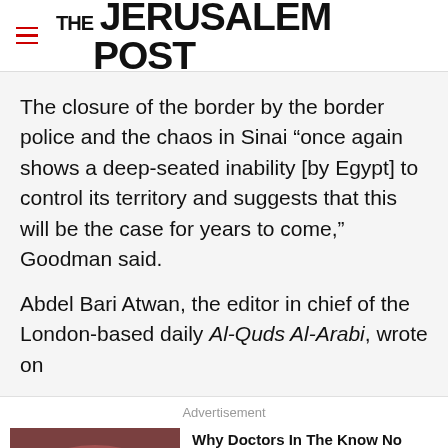THE JERUSALEM POST
The closure of the border by the border police and the chaos in Sinai “once again shows a deep-seated inability [by Egypt] to control its territory and suggests that this will be the case for years to come,” Goodman said.
Abdel Bari Atwan, the editor in chief of the London-based daily Al-Quds Al-Arabi, wrote on
Advertisement
Why Doctors In The Know No Longer Prescribe Metformin - Ad